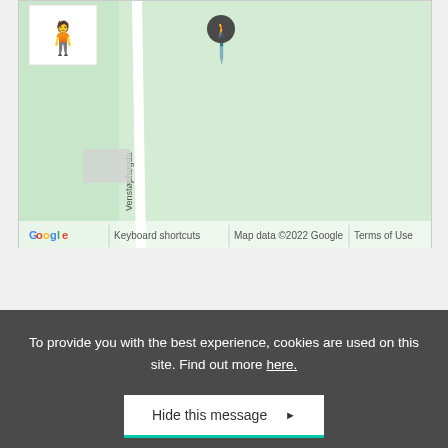[Figure (map): Google Maps screenshot showing a street view with a road labeled 'Venstøphøgda', a pedestrian navigation pin icon, a yellow human figure street view icon in the upper left, a small gray block shape, and Google branding at the bottom including 'Keyboard shortcuts', 'Map data ©2022 Google', and 'Terms of Use'. The map background is light green.]
To provide you with the best experience, cookies are used on this site. Find out more here.
Hide this message ▶